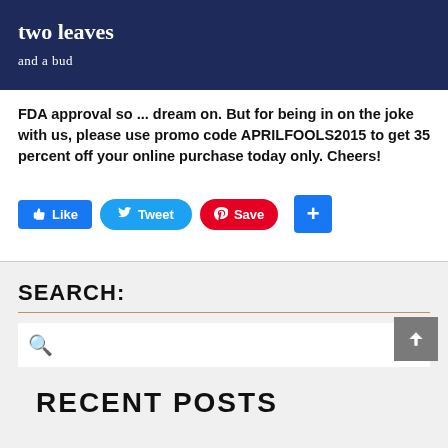two leaves and a bud
FDA approval so ... dream on. But for being in on the joke with us, please use promo code APRILFOOLS2015 to get 35 percent off your online purchase today only. Cheers!
[Figure (infographic): Social share buttons: Like (Facebook), Tweet (Twitter), Save (Pinterest), plus button]
SEARCH:
[Figure (infographic): Search input box with magnifying glass icon]
RECENT POSTS